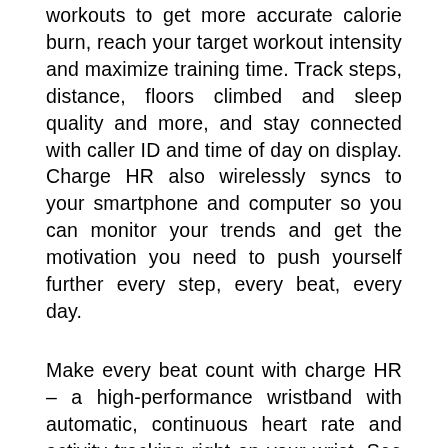workouts to get more accurate calorie burn, reach your target workout intensity and maximize training time. Track steps, distance, floors climbed and sleep quality and more, and stay connected with caller ID and time of day on display. Charge HR also wirelessly syncs to your smartphone and computer so you can monitor your trends and get the motivation you need to push yourself further every step, every beat, every day.
Make every beat count with charge HR – a high-performance wristband with automatic, continuous heart rate and activity tracking right on your wrist. See heart rate all day and during workouts to get more accurate calorie burn, reach your target workout intensity and maximize training time. Track steps, distance, floors climbed